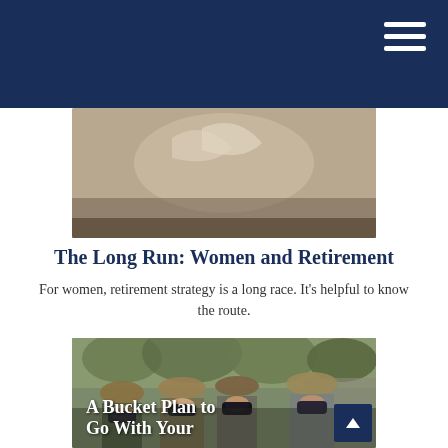Navigation bar with hamburger menu
[Figure (photo): Top portion of a photo showing running shoes or legs in motion, with beige/brown tones suggesting athletic gear or a race]
The Long Run: Women and Retirement
For women, retirement strategy is a long race. It's helpful to know the route.
[Figure (photo): Four people on safari wearing hats and looking through binoculars, in an outdoor setting with green foliage background. Text overlay reads 'A Bucket Plan to Go With Your']
A Bucket Plan to Go With Your